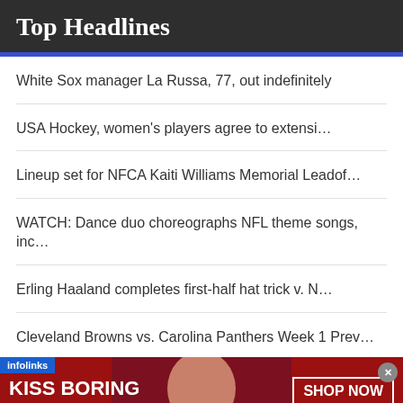Top Headlines
White Sox manager La Russa, 77, out indefinitely
USA Hockey, women's players agree to extensi…
Lineup set for NFCA Kaiti Williams Memorial Leadof…
WATCH: Dance duo choreographs NFL theme songs, inc…
Erling Haaland completes first-half hat trick v. N…
Cleveland Browns vs. Carolina Panthers Week 1 Prev…
[Figure (infographic): Advertisement banner for Macy's featuring text 'KISS BORING LIPS GOODBYE' with a photo of a woman, 'SHOP NOW' button, and Macy's star logo. Infolinks badge in top-left corner.]